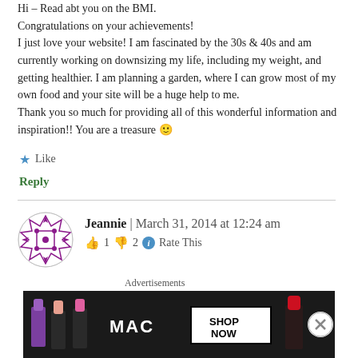Hi – Read abt you on the BMI.
Congratulations on your achievements!
I just love your website! I am fascinated by the 30s & 40s and am currently working on downsizing my life, including my weight, and getting healthier. I am planning a garden, where I can grow most of my own food and your site will be a huge help to me.
Thank you so much for providing all of this wonderful information and inspiration!! You are a treasure 🙂
★ Like
Reply
Jeannie  |  March 31, 2014 at 12:24 am
👍 1  👎 2  ℹ Rate This
[Figure (photo): MAC lipsticks advertisement banner with purple, peach, pink, and red lipsticks with MAC logo and SHOP NOW button]
Advertisements